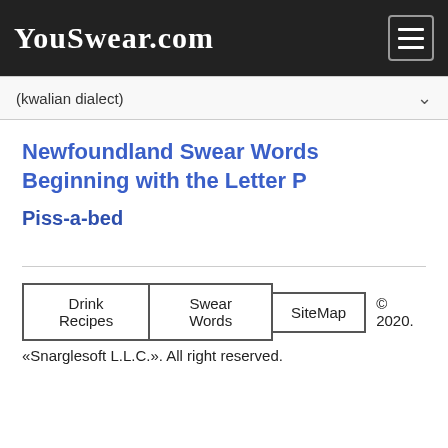YouSwear.com
(kwalian dialect)
Newfoundland Swear Words Beginning with the Letter P
Piss-a-bed
Drink Recipes | Swear Words | SiteMap | © 2020. «Snarglesoft L.L.C.». All right reserved.